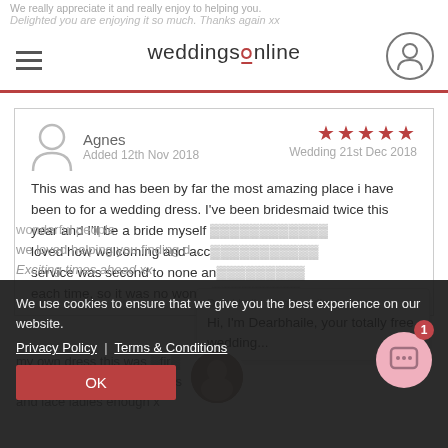weddingsonline
Agnes
Added 12th Nov 2018
Wedding 21st Dec 2018
5 stars
This was and has been by far the most amazing place i have been to for a wedding dress. I've been bridesmaid twice this year and I'll be a bride myself... loved how welcoming and accomodating... service was second to none and... each time, so it was no wonder... my own dress this was first... difficult to recommend pearls and lace ladies enough x
Dearbhaile from weddings...
Hi, I'm Dearbhaile, your totally free wedding...
We use cookies to ensure that we give you the best experience on our website.
Privacy Policy   Terms & Conditions
OK